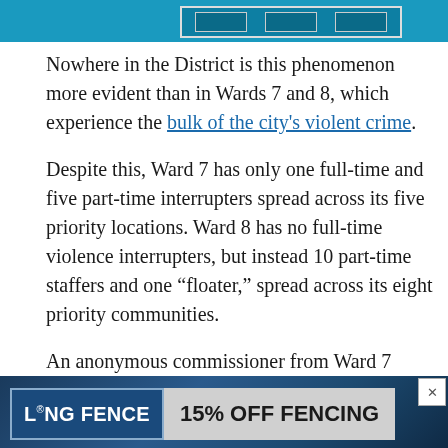[Figure (other): Top banner image in teal/blue color with navigation or header graphic partially visible]
Nowhere in the District is this phenomenon more evident than in Wards 7 and 8, which experience the bulk of the city's violent crime.
Despite this, Ward 7 has only one full-time and five part-time interrupters spread across its five priority locations. Ward 8 has no full-time violence interrupters, but instead 10 part-time staffers and one “floater,” spread across its eight priority communities.
An anonymous commissioner from Ward 7 expressed doubts that a part-time violence interr…
[Figure (other): Advertisement banner: Long Fence - 15% OFF FENCING with close button]